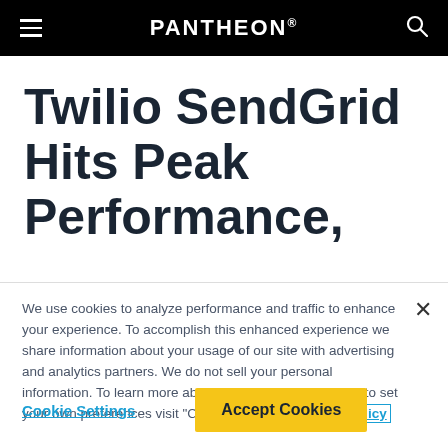PANTHEON®
Twilio SendGrid Hits Peak Performance,
We use cookies to analyze performance and traffic to enhance your experience. To accomplish this enhanced experience we share information about your usage of our site with advertising and analytics partners. We do not sell your personal information. To learn more about the cookies we use and to set your own preferences visit "Cookie Settings". Cookie Policy
Cookie Settings   Accept Cookies